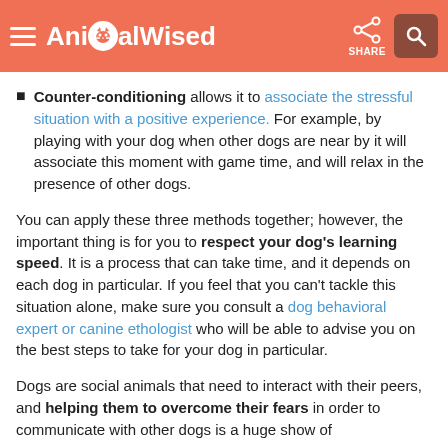AnimalWised
Counter-conditioning allows it to associate the stressful situation with a positive experience. For example, by playing with your dog when other dogs are near by it will associate this moment with game time, and will relax in the presence of other dogs.
You can apply these three methods together; however, the important thing is for you to respect your dog's learning speed. It is a process that can take time, and it depends on each dog in particular. If you feel that you can't tackle this situation alone, make sure you consult a dog behavioral expert or canine ethologist who will be able to advise you on the best steps to take for your dog in particular.
Dogs are social animals that need to interact with their peers, and helping them to overcome their fears in order to communicate with other dogs is a huge show of